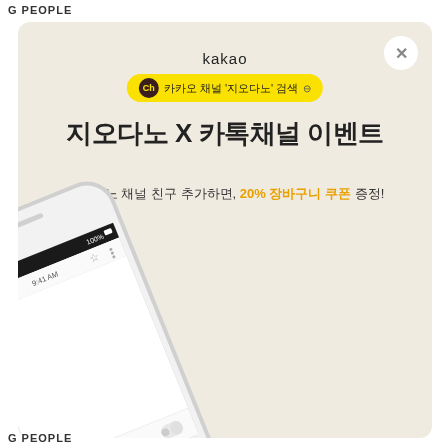G PEOPLE
[Figure (infographic): Kakao channel promotion advertisement for Giordano (지오다노). Beige background with Kakao logo, yellow channel badge, large Korean title '지오다노 X 카톡채널 이벤트', subtitle text, and a smartphone showing a Kakao chat interface. Close button (×) in top right corner.]
G PEOPLE